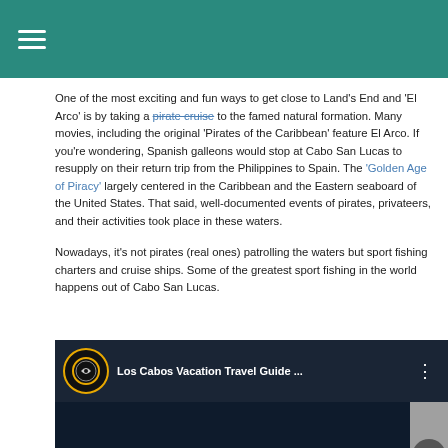Navigation menu header bar
One of the most exciting and fun ways to get close to Land's End and 'El Arco' is by taking a pirate cruise to the famed natural formation. Many movies, including the original 'Pirates of the Caribbean' feature El Arco. If you're wondering, Spanish galleons would stop at Cabo San Lucas to resupply on their return trip from the Philippines to Spain. The 'Golden Age of Piracy' largely centered in the Caribbean and the Eastern seaboard of the United States. That said, well-documented events of pirates, privateers, and their activities took place in these waters.
Nowadays, it's not pirates (real ones) patrolling the waters but sport fishing charters and cruise ships. Some of the greatest sport fishing in the world happens out of Cabo San Lucas.
[Figure (screenshot): Embedded video player showing 'Los Cabos Vacation Travel Guide ...' with a travel channel icon (airplane in circle with gold border), three-dot menu, dark background with cruise ship silhouette and TRAVEL GUIDE text at bottom, and a scroll-up arrow button on the right side.]